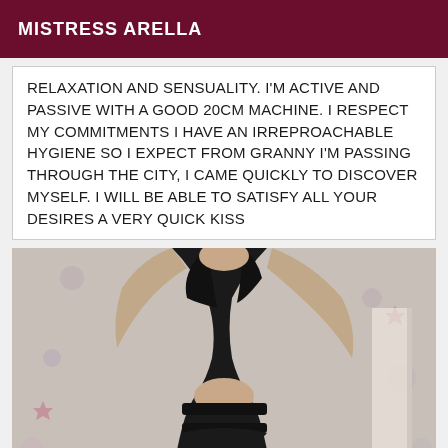MISTRESS ARELLA
RELAXATION AND SENSUALITY. I'M ACTIVE AND PASSIVE WITH A GOOD 20CM MACHINE. I RESPECT MY COMMITMENTS I HAVE AN IRREPROACHABLE HYGIENE SO I EXPECT FROM GRANNY I'M PASSING THROUGH THE CITY, I CAME QUICKLY TO DISCOVER MYSELF. I WILL BE ABLE TO SATISFY ALL YOUR DESIRES A VERY QUICK KISS
[Figure (photo): Person wearing black lingerie/outfit posed against a floral wallpaper background]